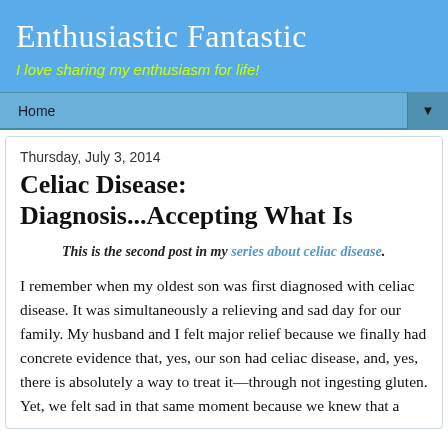Enthusiastic Fantastic
I love sharing my enthusiasm for life!
Home
Thursday, July 3, 2014
Celiac Disease: Diagnosis...Accepting What Is
This is the second post in my series about celiac disease.
I remember when my oldest son was first diagnosed with celiac disease. It was simultaneously a relieving and sad day for our family. My husband and I felt major relief because we finally had concrete evidence that, yes, our son had celiac disease, and, yes, there is absolutely a way to treat it—through not ingesting gluten. Yet, we felt sad in that same moment because we knew that a